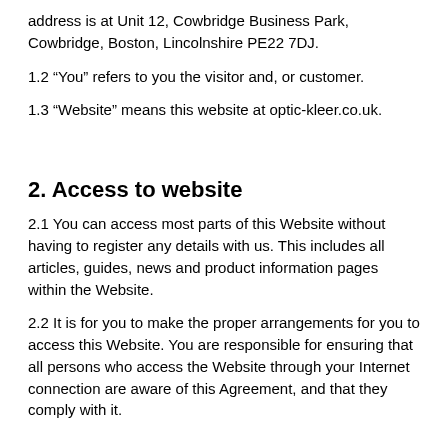address is at Unit 12, Cowbridge Business Park, Cowbridge, Boston, Lincolnshire PE22 7DJ.
1.2 “You” refers to you the visitor and, or customer.
1.3 “Website” means this website at optic-kleer.co.uk.
2. Access to website
2.1 You can access most parts of this Website without having to register any details with us. This includes all articles, guides, news and product information pages within the Website.
2.2 It is for you to make the proper arrangements for you to access this Website. You are responsible for ensuring that all persons who access the Website through your Internet connection are aware of this Agreement, and that they comply with it.